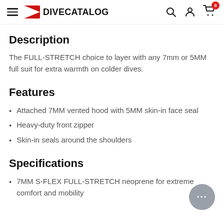DiveCatalog
Description
The FULL-STRETCH choice to layer with any 7mm or 5MM full suit for extra warmth on colder dives.
Features
Attached 7MM vented hood with 5MM skin-in face seal
Heavy-duty front zipper
Skin-in seals around the shoulders
Specifications
7MM S-FLEX FULL-STRETCH neoprene for extreme comfort and mobility